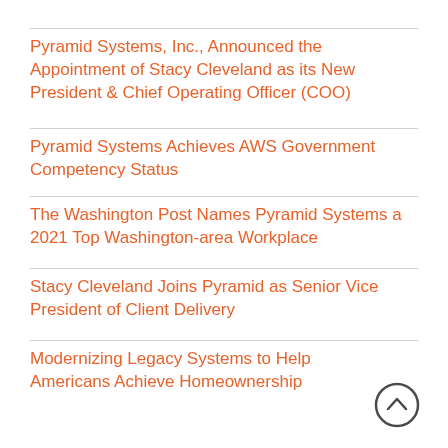Pyramid Systems, Inc., Announced the Appointment of Stacy Cleveland as its New President & Chief Operating Officer (COO)
Pyramid Systems Achieves AWS Government Competency Status
The Washington Post Names Pyramid Systems a 2021 Top Washington-area Workplace
Stacy Cleveland Joins Pyramid as Senior Vice President of Client Delivery
Modernizing Legacy Systems to Help Americans Achieve Homeownership